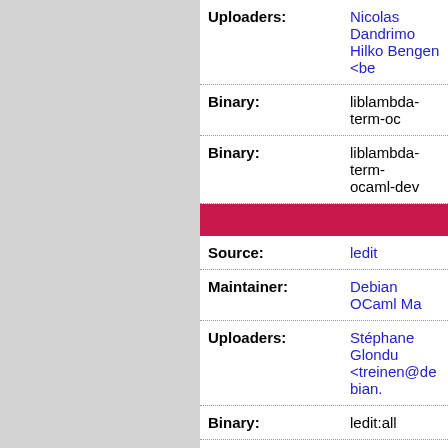| Field | Value |
| --- | --- |
| Uploaders: | Nicolas Dandrimo... Hilko Bengen <be... |
| Binary: | liblambda-term-oc... |
| Binary: | liblambda-term-ocaml-dev |
| [section-divider] |  |
| Source: | ledit |
| Maintainer: | Debian OCaml Ma... |
| Uploaders: | Stéphane Glondu... <treinen@debian.... |
| Binary: | ledit:all |
| Binary: | libledit-ocaml-dev... |
| [section-divider] |  |
| Source: | liquidsoap |
| Maintainer: | Debian OCaml Ma... |